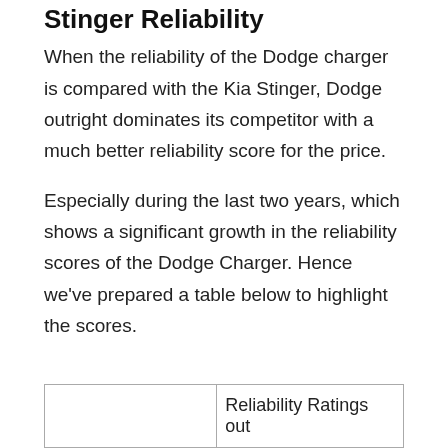Stinger Reliability
When the reliability of the Dodge charger is compared with the Kia Stinger, Dodge outright dominates its competitor with a much better reliability score for the price.
Especially during the last two years, which shows a significant growth in the reliability scores of the Dodge Charger. Hence we've prepared a table below to highlight the scores.
|  | Reliability Ratings out |
| --- | --- |